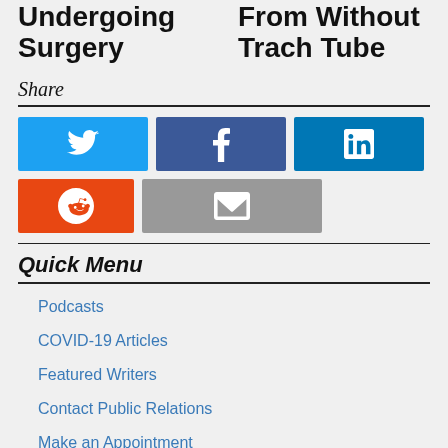Undergoing Surgery
From Without Trach Tube
Share
[Figure (infographic): Social share buttons: Twitter (blue), Facebook (dark blue), LinkedIn (blue), Reddit (orange), Email (gray)]
Quick Menu
Podcasts
COVID-19 Articles
Featured Writers
Contact Public Relations
Make an Appointment
RSS Feeds